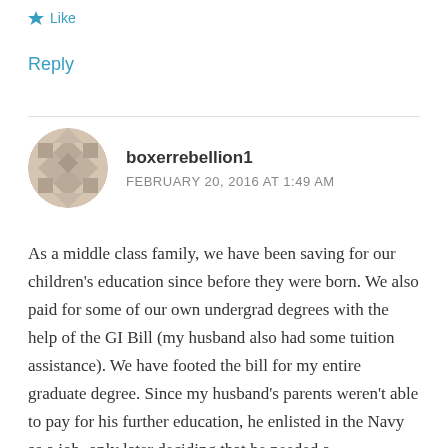★ Like
Reply
boxerrebellion1
FEBRUARY 20, 2016 AT 1:49 AM
As a middle class family, we have been saving for our children's education since before they were born. We also paid for some of our own undergrad degrees with the help of the GI Bill (my husband also had some tuition assistance). We have footed the bill for my entire graduate degree. Since my husband's parents weren't able to pay for his further education, he enlisted in the Navy as a job, only later deciding that he needed a